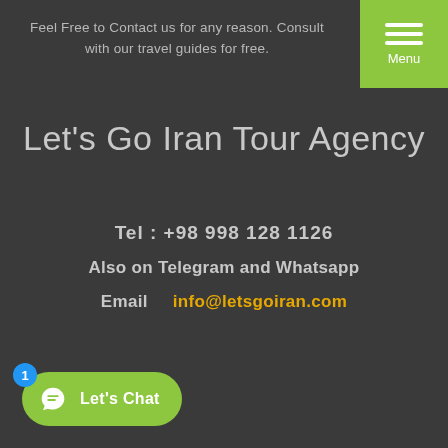Feel Free to Contact us for any reason. Consult with our travel guides for free.
[Figure (other): Green menu button with three horizontal white lines and 'Menu' label]
Let's Go Iran Tour Agency
Tel  :  +98 998 128 1126
Also on Telegram and Whatsapp
Email     info@letsgoiran.com
[Figure (other): WhatsApp chat widget button with green pill shape, chat bubble icon, badge showing 1, and text 'Let's Chat']